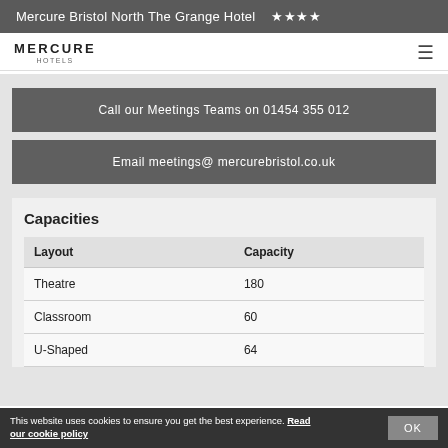Mercure Bristol North The Grange Hotel ★★★★
[Figure (logo): Mercure Hotels logo with hamburger menu icon]
Call our Meetings Teams on 01454 355 012
Email meetings@ mercurebristol.co.uk
Capacities
| Layout | Capacity |
| --- | --- |
| Theatre | 180 |
| Classroom | 60 |
| U-Shaped | 64 |
This website uses cookies to ensure you get the best experience. Read our cookie policy OK